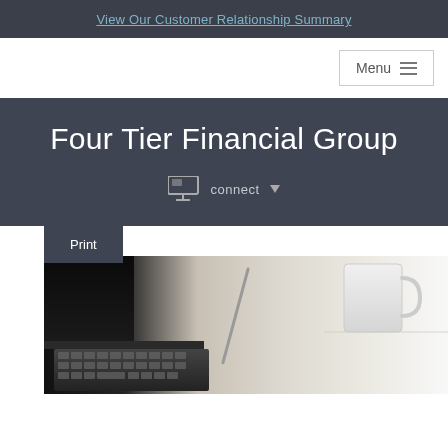View Our Customer Relationship Summary
Menu
Four Tier Financial Group
connect
Print
[Figure (photo): Photo of a laptop, keyboard, pen, and coffee cup on a white surface — a work desk scene]